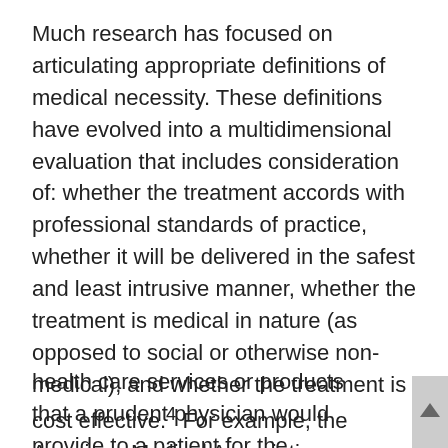Much research has focused on articulating appropriate definitions of medical necessity. These definitions have evolved into a multidimensional evaluation that includes consideration of: whether the treatment accords with professional standards of practice, whether it will be delivered in the safest and least intrusive manner, whether the treatment is medical in nature (as opposed to social or otherwise non-medical), and whether the treatment is cost effective.4 For example, the American Medical Association suggests that medical necessity be defined as:
health care services or products that a prudent physician would provide to a patient for the purposes